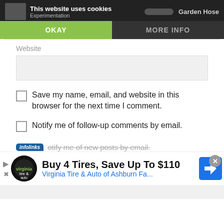This website uses cookies | Experimentation | Garden Hose | OKAY | MORE INFO
Website
[Figure (screenshot): Empty website input field (text box with light gray background)]
Save my name, email, and website in this browser for the next time I comment.
Notify me of follow-up comments by email.
otify me of new posts by email.
[Figure (screenshot): Advertisement: Buy 4 Tires, Save Up To $110 — Virginia Tire & Auto of Ashburn Fa...]